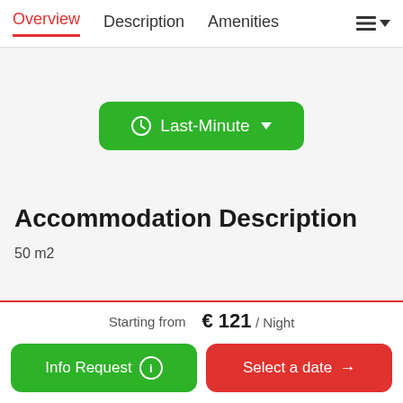Overview  Description  Amenities
[Figure (screenshot): Green 'Last-Minute' dropdown button with clock icon]
Accommodation Description
50 m2
Starting from  € 121 / Night
Info Request
Select a date →